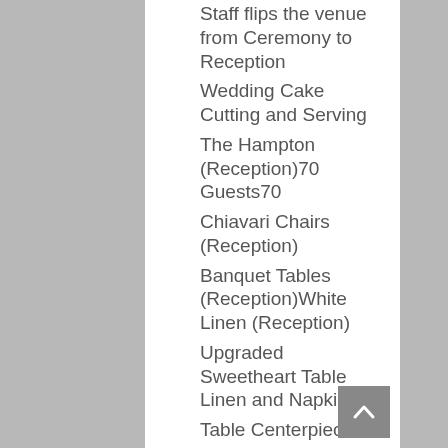Staff flips the venue from Ceremony to Reception
Wedding Cake Cutting and Serving
The Hampton (Reception)70 Guests70
Chiavari Chairs (Reception)
Banquet Tables (Reception)White Linen (Reception)
Upgraded Sweetheart Table Linen and Napkins
Table Centerpiece
70 Glass Beaded Chargers
Two tall floral arrangements
10 gold, silver or glass vases
Three floating candles per table
3 votives per table
Sweetheart table floral arrangement
Choice of Reception MenuThree-Course Dinner
(Choose 2 Entrees)